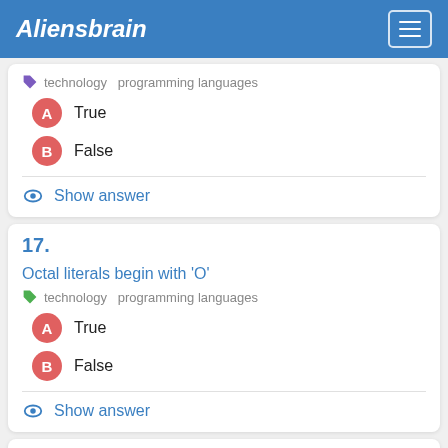Aliensbrain
technology  programming languages
A  True
B  False
Show answer
17.
Octal literals begin with 'O'
technology  programming languages
A  True
B  False
Show answer
18. main method can be overloaded